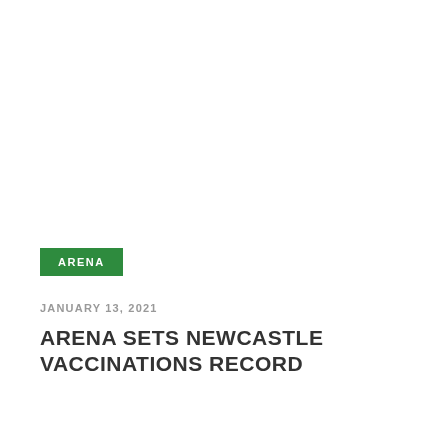ARENA
JANUARY 13, 2021
ARENA SETS NEWCASTLE VACCINATIONS RECORD